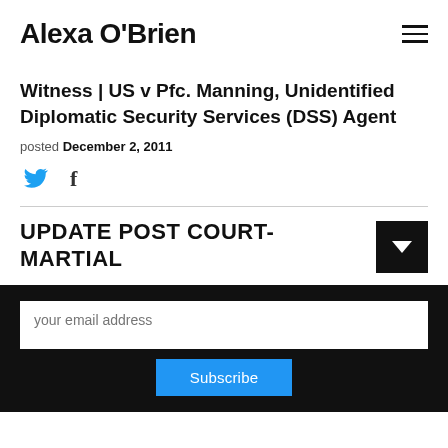Alexa O'Brien
Witness | US v Pfc. Manning, Unidentified Diplomatic Security Services (DSS) Agent
posted December 2, 2011
[Figure (infographic): Twitter and Facebook social share icons]
UPDATE POST COURT-MARTIAL
your email address
Subscribe